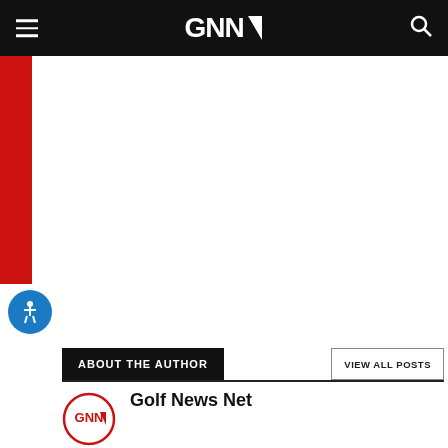GNN (Golf News Net) - navigation bar with hamburger menu and search icon
[Figure (logo): Red vertical sidebar bar on left side]
[Figure (illustration): Blue circle accessibility icon with person figure]
ABOUT THE AUTHOR
VIEW ALL POSTS
[Figure (logo): GNN circular logo with red border and white background]
Golf News Net
We use the Golf News Net byline sometimes just to change things up. But, it's one of us humans writing the story, we promise.